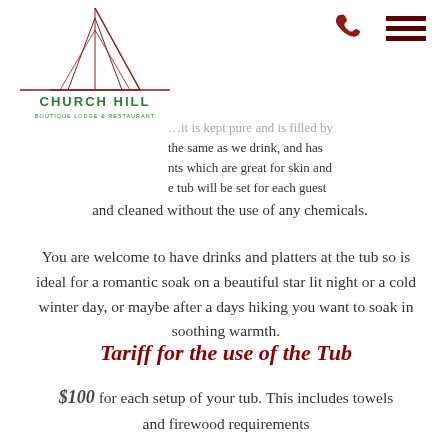[Figure (logo): Church Hill Boutique Lodge & Restaurant logo with red geometric church/steeple outline above green text]
[Figure (other): Red phone icon]
[Figure (other): Dark red hamburger menu icon (three horizontal lines)]
…it is kept pure and is filled by the same as we drink, and has nts which are great for skin and e tub will be set for each guest and cleaned without the use of any chemicals.
You are welcome to have drinks and platters at the tub so is ideal for a romantic soak on a beautiful star lit night or a cold winter day, or maybe after a days hiking you want to soak in soothing warmth.
Tariff for the use of the Tub
$100 for each setup of your tub. This includes towels and firewood requirements